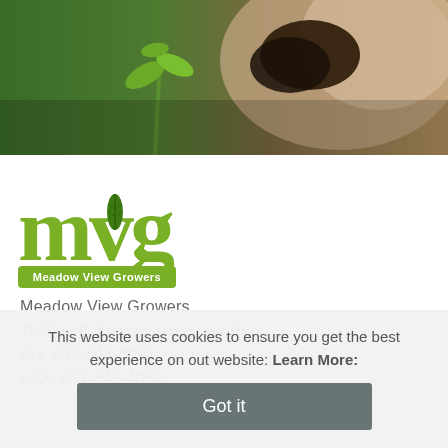[Figure (photo): Hero image showing a hand holding soil with a green plant seedling, dark background with green and brown tones]
[Figure (logo): Meadow View Growers logo: large green 'mvg' letters with a leaf design in the 'v', and a green badge below reading 'Meadow View Growers']
Meadow View Growers
755 North Dayton-Lakeview Rd.
PH: 937-845-0093
FAX: 937-845-4082
This website uses cookies to ensure you get the best experience on out website: Learn More:
Got it